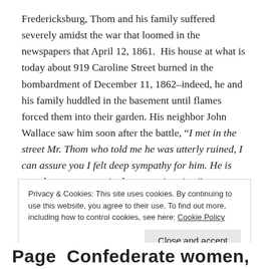Fredericksburg, Thom and his family suffered severely amidst the war that loomed in the newspapers that April 12, 1861.  His house at what is today about 919 Caroline Street burned in the bombardment of December 11, 1862–indeed, he and his family huddled in the basement until flames forced them into their garden. His neighbor John Wallace saw him soon after the battle, “I met in the street Mr. Thom who told me he was utterly ruined, I can assure you I felt deep sympathy for him. He is not alone, many are in the same situation.”
Privacy & Cookies: This site uses cookies. By continuing to use this website, you agree to their use.
To find out more, including how to control cookies, see here: Cookie Policy
Close and accept
Page  Confederate women, the